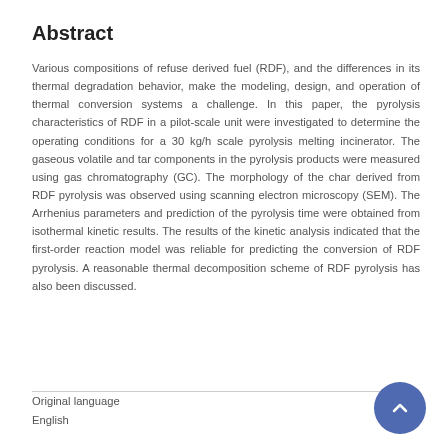Abstract
Various compositions of refuse derived fuel (RDF), and the differences in its thermal degradation behavior, make the modeling, design, and operation of thermal conversion systems a challenge. In this paper, the pyrolysis characteristics of RDF in a pilot-scale unit were investigated to determine the operating conditions for a 30 kg/h scale pyrolysis melting incinerator. The gaseous volatile and tar components in the pyrolysis products were measured using gas chromatography (GC). The morphology of the char derived from RDF pyrolysis was observed using scanning electron microscopy (SEM). The Arrhenius parameters and prediction of the pyrolysis time were obtained from isothermal kinetic results. The results of the kinetic analysis indicated that the first-order reaction model was reliable for predicting the conversion of RDF pyrolysis. A reasonable thermal decomposition scheme of RDF pyrolysis has also been discussed.
Original language
English